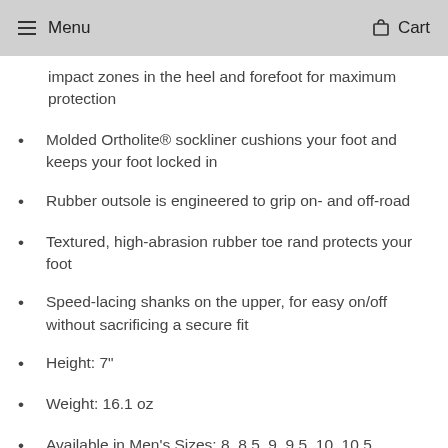Menu  Cart
impact zones in the heel and forefoot for maximum protection
Molded Ortholite® sockliner cushions your foot and keeps your foot locked in
Rubber outsole is engineered to grip on- and off-road
Textured, high-abrasion rubber toe rand protects your foot
Speed-lacing shanks on the upper, for easy on/off without sacrificing a secure fit
Height: 7"
Weight: 16.1 oz
Available in Men's Sizes: 8, 8.5, 9, 9.5, 10, 10.5,